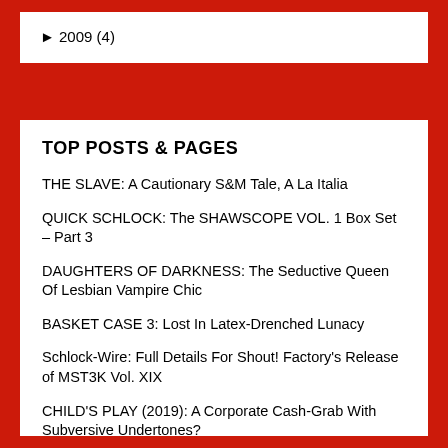► 2009 (4)
TOP POSTS & PAGES
THE SLAVE: A Cautionary S&M Tale, A La Italia
QUICK SCHLOCK: The SHAWSCOPE VOL. 1 Box Set – Part 3
DAUGHTERS OF DARKNESS: The Seductive Queen Of Lesbian Vampire Chic
BASKET CASE 3: Lost In Latex-Drenched Lunacy
Schlock-Wire: Full Details For Shout! Factory's Release of MST3K Vol. XIX
CHILD'S PLAY (2019): A Corporate Cash-Grab With Subversive Undertones?
GUN WOMAN: Bullets, Boobs And Blood By The Bucketful